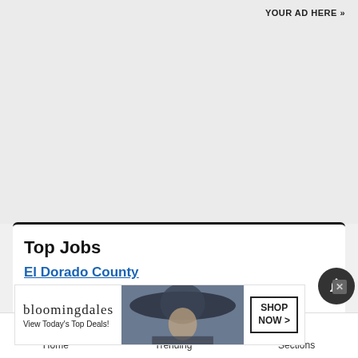YOUR AD HERE »
Top Jobs
El Dorado County
S... type, C...
[Figure (infographic): Bloomingdale's advertisement banner: 'bloomingdales – View Today's Top Deals!' with a model wearing a sun hat and a SHOP NOW > button]
× (close button)
[Figure (other): Notification bell icon button]
Home  Trending  Sections